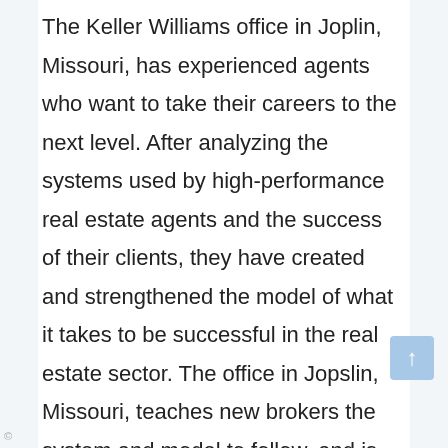The Keller Williams office in Joplin, Missouri, has experienced agents who want to take their careers to the next level. After analyzing the systems used by high-performance real estate agents and the success of their clients, they have created and strengthened the model of what it takes to be successful in the real estate sector. The office in Jopslin, Missouri, teaches new brokers the system and model to follow, and is responsible for selling 16 homes in their first year in business. For estate agents looking for a step-by-step plan to make real